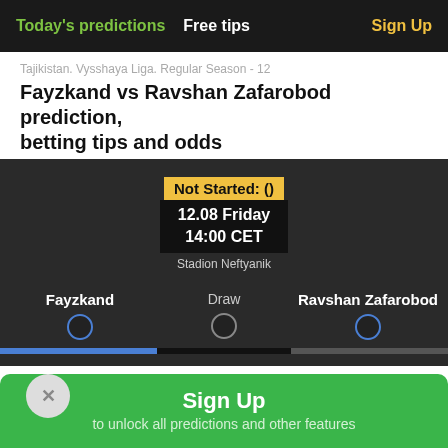Today's predictions   Free tips   Sign Up
Tajikistan. Vysshaya Liga. Regular Season - 12
Fayzkand vs Ravshan Zafarobod prediction, betting tips and odds
[Figure (infographic): Match info card: Not Started: () badge in yellow, date 12.08 Friday 14:00 CET, Stadion Neftyanik. Teams: Fayzkand, Draw, Ravshan Zafarobod with radio buttons and progress bar.]
Prediction and betting tips
Result   UnderOver
Sign Up to unlock all predictions and other features